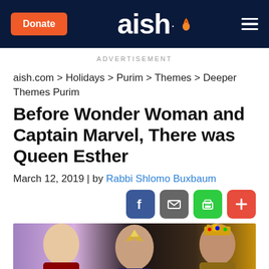Donate | aish. | menu
ADVERTISEMENT
aish.com > Holidays > Purim > Themes > Deeper Themes Purim
Before Wonder Woman and Captain Marvel, There was Queen Esther
March 12, 2019 | by Rabbi Shlomo Buxbaum
[Figure (other): Social sharing icons: Facebook (blue), Email (gray), Print (green), Plus/Add (red)]
[Figure (photo): Hero image showing three women: Captain Marvel (blonde), Wonder Woman (dark hair with tiara), and Queen Esther (with ornate gold headpiece)]